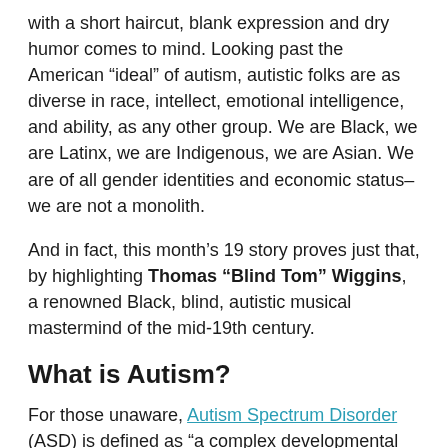with a short haircut, blank expression and dry humor comes to mind. Looking past the American “ideal” of autism, autistic folks are as diverse in race, intellect, emotional intelligence, and ability, as any other group. We are Black, we are Latinx, we are Indigenous, we are Asian. We are of all gender identities and economic status–we are not a monolith.
And in fact, this month’s 19 story proves just that, by highlighting Thomas “Blind Tom” Wiggins, a renowned Black, blind, autistic musical mastermind of the mid-19th century.
What is Autism?
For those unaware, Autism Spectrum Disorder (ASD) is defined as “a complex developmental condition involving persistent challenges with social communication, restricted interests, and repetitive